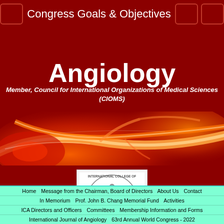Congress Goals & Objectives
Angiology
Member, Council for International Organizations of Medical Sciences (CIOMS)
[Figure (illustration): Blood vessel anatomy illustration with red and orange glowing vessels on dark red background]
[Figure (logo): International College of Angiology, Inc. circular logo with human figure standing on globe, Founded 1959, with red and blue wave lines below]
Home  Message from the Chairman, Board of Directors  About Us  Contact
In Memorium  Prof. John B. Chang Memorial Fund  Activities
ICA Directors and Officers  Committees  Membership Information and Forms
International Journal of Angiology  63rd Annual World Congress - 2022